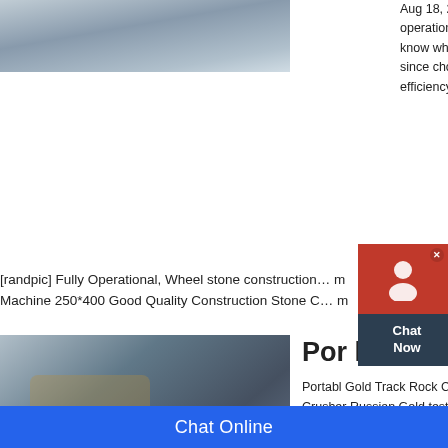[Figure (photo): Outdoor scene with snow/dirt terrain, machinery in background]
Aug 18, 2021 Summary⁠In granite s... operation, crushing will be the first p... know which types of crushers are s... since choosing right crushing machi... efficiency and minimize operation c...
[randpic] Fully Operational, Wheel stone construction... Machine 250*400 Good Quality Construction Stone C...
[Figure (photo): Gold track rock crusher machine operating outdoors, piles of crushed rock visible]
Por l Gold Track Ro...
Portabl Gold Track Rock Crusher C... Crusher Russian Gold tester plant c... difference of principle, the cone crus... crusher and hydraulic cone crusher... producing cone crushers since 1953... and technology upgrading, the cone...
[Figure (photo): Partial image of rock crusher equipment at bottom of page]
Rock Crushers Gold Pr...
[Figure (screenshot): Chat Now widget overlay in top right corner]
Chat Online